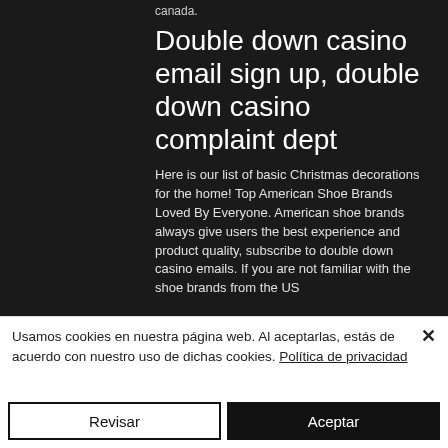canada.
Double down casino email sign up, double down casino complaint dept
Here is our list of basic Christmas decorations for the home! Top American Shoe Brands Loved By Everyone. American shoe brands always give users the best experience and product quality, subscribe to double down casino emails. If you are not familiar with the shoe brands from the US
Usamos cookies en nuestra página web. Al aceptarlas, estás de acuerdo con nuestro uso de dichas cookies. Política de privacidad
Revisar
Aceptar